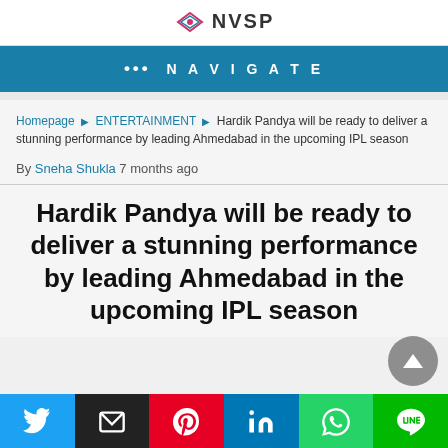NVSP
••• NAVIGATE
Homepage ▶ ENTERTAINMENT ▶ Hardik Pandya will be ready to deliver a stunning performance by leading Ahmedabad in the upcoming IPL season
By Sneha Shukla 7 months ago
Hardik Pandya will be ready to deliver a stunning performance by leading Ahmedabad in the upcoming IPL season